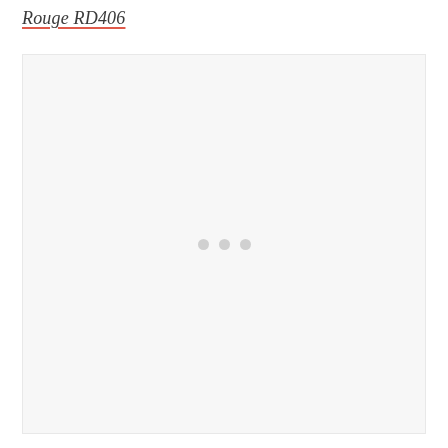Rouge RD406
[Figure (photo): Large image placeholder with light grey background and three grey loading dots centered in the middle, indicating an image that has not loaded yet.]